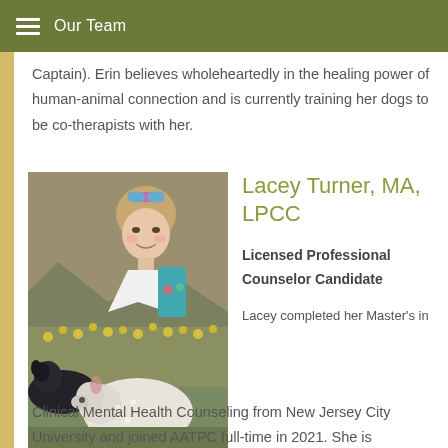Our Team
Captain). Erin believes wholeheartedly in the healing power of human-animal connection and is currently training her dogs to be co-therapists with her.
[Figure (photo): Photo of Lacey Turner, a smiling woman wearing sunglasses on her head and a teal backpack, outdoors with two dogs (a black dog and a large white fluffy dog), with yellow wildflowers and rocky terrain in the background.]
Lacey Turner, MA, LPCC
Licensed Professional Counselor Candidate
Lacey completed her Master's in Clinical Mental Health Counseling from New Jersey City University and joined AATPC full-time in 2021. She is currently